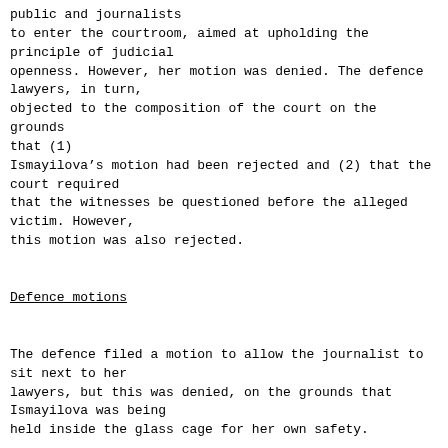public and journalists
to enter the courtroom, aimed at upholding the principle of judicial
openness. However, her motion was denied. The defence lawyers, in turn,
objected to the composition of the court on the grounds that (1)
Ismayilova’s motion had been rejected and (2) that the court required
that the witnesses be questioned before the alleged victim. However,
this motion was also rejected.
_Defence motions_
The defence filed a motion to allow the journalist to sit next to her
lawyers, but this was denied, on the grounds that Ismayilova was being
held inside the glass cage for her own safety.
A second defence motion addressed the issue of financial authority and
liability. Because the Radio Liberty Azerbaijani